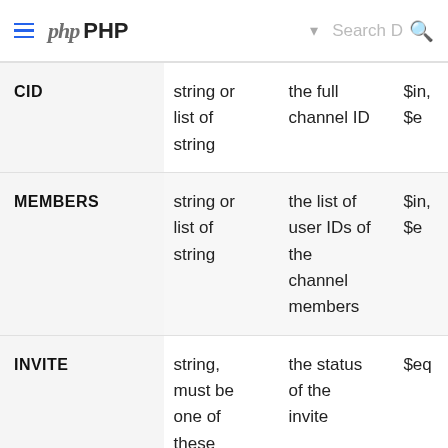php PHP
|  |  |  |  |
| --- | --- | --- | --- |
| CID | string or list of string | the full channel ID | $in, $e |
| MEMBERS | string or list of string | the list of user IDs of the channel members | $in, $e |
| INVITE | string, must be one of these values: (pending | the status of the invite | $eq |